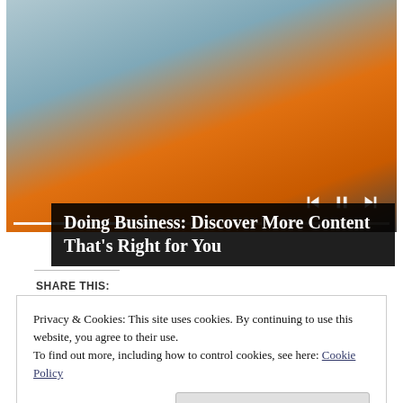[Figure (photo): Video player screenshot showing a woman in an orange blazer with arms crossed, with media playback controls (skip back, pause, skip forward) and a progress bar overlaid on the image.]
Doing Business: Discover More Content That's Right for You
SHARE THIS:
Privacy & Cookies: This site uses cookies. By continuing to use this website, you agree to their use.
To find out more, including how to control cookies, see here: Cookie Policy